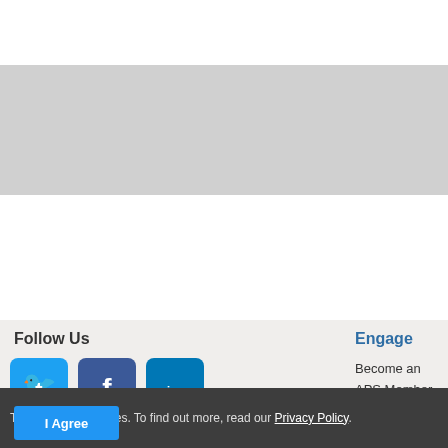9:31AM - 9:44AM
Sunday, November 20, 2011
9:44AM - 9:57AM
Sunday, November 20, 2011
9:57AM - 10:10AM
Follow Us
[Figure (infographic): Social media icons: Twitter, Facebook, LinkedIn, RSS, Google+, YouTube]
Engage
Become an APS Member
Submit a Meeting Abstract
Submit a Manuscript
Find a Journal Article
Donate to APS
This site uses cookies. To find out more, read our Privacy Policy.
© 2022 American Physical Society | All rights reserved | Terms of Use | C...
Headquarters   1 Physics Ellipse, College Park, MD 20740-3844   (301)...
Editorial Office   1 Research Road, Ridge, NY 11961-2701   (631) 591...